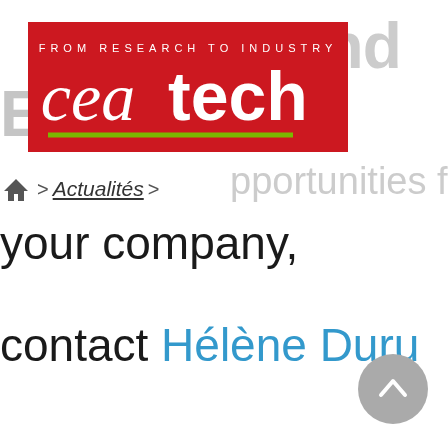[Figure (logo): CEA Tech logo — red background with white text 'cea tech', tagline 'FROM RESEARCH TO INDUSTRY', and a green horizontal line]
Sponsor and Exhibitor
🏠 > Actualités >
Discover all opportunities for your company, contact Hélène Duru